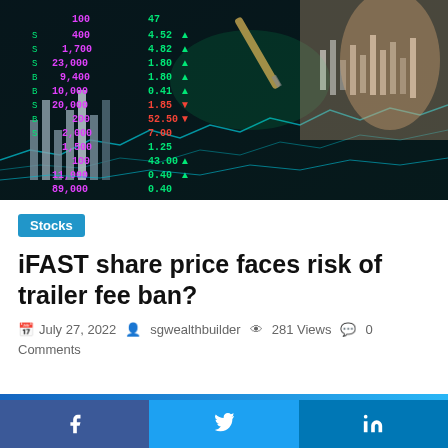[Figure (photo): Stock market trading screen showing numbers and charts with a hand holding a pen, colorful financial data display with green and pink numbers]
Stocks
iFAST share price faces risk of trailer fee ban?
July 27, 2022  sgwealthbuilder  281 Views  0 Comments